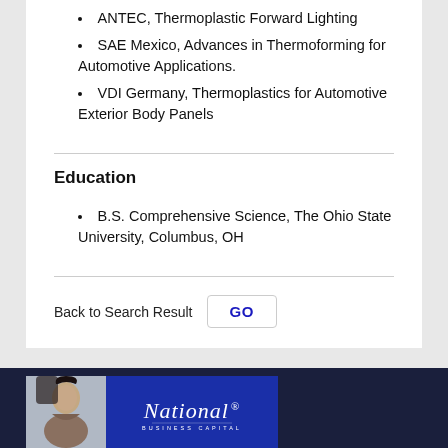ANTEC, Thermoplastic Forward Lighting
SAE Mexico, Advances in Thermoforming for Automotive Applications.
VDI Germany, Thermoplastics for Automotive Exterior Body Panels
Education
B.S. Comprehensive Science, The Ohio State University, Columbus, OH
Back to Search Result  GO
[Figure (illustration): National Business Capital advertisement banner with a woman's photo on the left and blue background with National logo on the right]